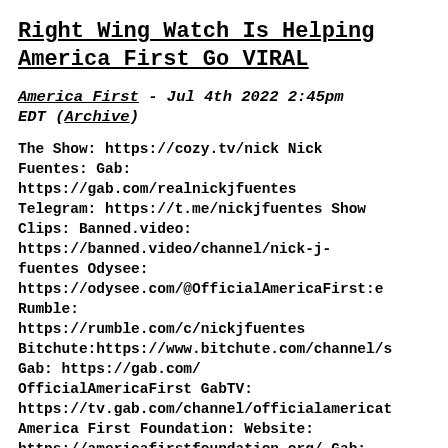Right Wing Watch Is Helping America First Go VIRAL
America First - Jul 4th 2022 2:45pm EDT (Archive)
The Show: https://cozy.tv/nick Nick Fuentes: Gab: https://gab.com/realnickjfuentes Telegram: https://t.me/nickjfuentes Show Clips: Banned.video: https://banned.video/channel/nick-j-fuentes Odysee: https://odysee.com/@OfficialAmericaFirst:e Rumble: https://rumble.com/c/nickjfuentes Bitchute:https://www.bitchute.com/channel/s Gab: https://gab.com/ OfficialAmericaFirst GabTV: https://tv.gab.com/channel/officialamericat America First Foundation: Website: https://americafirstfoundation.org/ Gab: